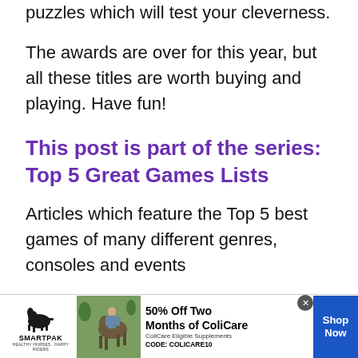puzzles which will test your cleverness.
The awards are over for this year, but all these titles are worth buying and playing. Have fun!
This post is part of the series: Top 5 Great Games Lists
Articles which feature the Top 5 best games of many different genres, consoles and events
1. Top 5 Most Awaited E3 2011 Games &
[Figure (other): SmartPak advertisement banner: 50% Off Two Months of ColiCare, ColiCare Eligible Supplements, CODE: COLICARE10, Shop Now button]